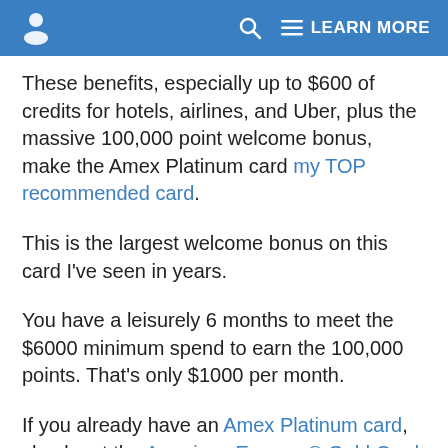LEARN MORE
These benefits, especially up to $600 of credits for hotels, airlines, and Uber, plus the massive 100,000 point welcome bonus, make the Amex Platinum card my TOP recommended card.
This is the largest welcome bonus on this card I've seen in years.
You have a leisurely 6 months to meet the $6000 minimum spend to earn the 100,000 points. That's only $1000 per month.
If you already have an Amex Platinum card, check out the American Express® Gold Card, fee waived